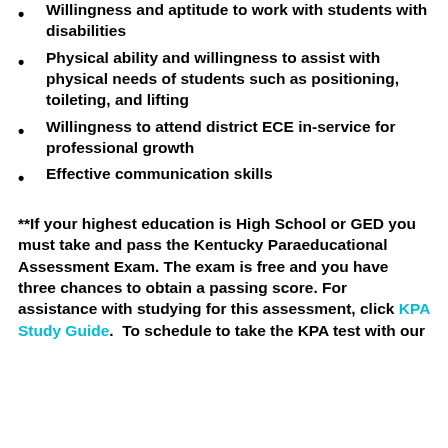Willingness and aptitude to work with students with disabilities
Physical ability and willingness to assist with physical needs of students such as positioning, toileting, and lifting
Willingness to attend district ECE in-service for professional growth
Effective communication skills
**If your highest education is High School or GED you must take and pass the Kentucky Paraeducational Assessment Exam. The exam is free and you have three chances to obtain a passing score. For assistance with studying for this assessment, click KPA Study Guide.  To schedule to take the KPA test with our